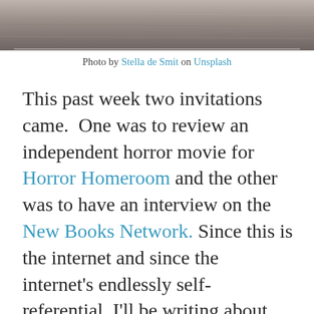[Figure (photo): Top portion of a photo showing a wooden table surface with a white plate and chopsticks, partially cropped at the bottom]
Photo by Stella de Smit on Unsplash
This past week two invitations came.  One was to review an independent horror movie for Horror Homeroom and the other was to have an interview on the New Books Network. Since this is the internet and since the internet's endlessly self-referential, I'll be writing about them both in more detail, directing you to the end